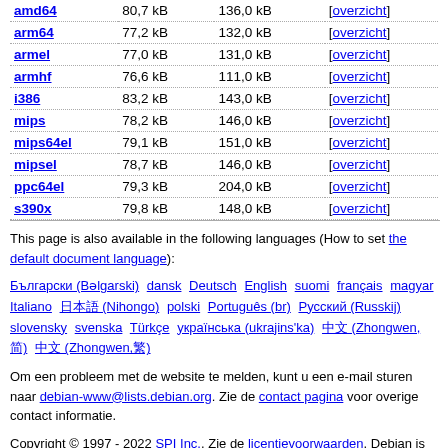| Architecture | Download size | Installed size |  |
| --- | --- | --- | --- |
| amd64 | 80,7 kB | 136,0 kB | [overzicht] |
| arm64 | 77,2 kB | 132,0 kB | [overzicht] |
| armel | 77,0 kB | 131,0 kB | [overzicht] |
| armhf | 76,6 kB | 111,0 kB | [overzicht] |
| i386 | 83,2 kB | 143,0 kB | [overzicht] |
| mips | 78,2 kB | 146,0 kB | [overzicht] |
| mips64el | 79,1 kB | 151,0 kB | [overzicht] |
| mipsel | 78,7 kB | 146,0 kB | [overzicht] |
| ppc64el | 79,3 kB | 204,0 kB | [overzicht] |
| s390x | 79,8 kB | 148,0 kB | [overzicht] |
This page is also available in the following languages (How to set the default document language):
Български (Bəlgarski) dansk Deutsch English suomi français magyar Italiano 日本語 (Nihongo) polski Português (br) Русский (Russkij) slovensky svenska Türkçe українська (ukrajins'ka) 中文 (Zhongwen,简) 中文 (Zhongwen,繁)
Om een probleem met de website te melden, kunt u een e-mail sturen naar debian-www@lists.debian.org. Zie de contact pagina voor overige contact informatie.
Copyright © 1997 - 2022 SPI Inc.. Zie de licentievoorwaarden. Debian is een handelsmerk van SPI Inc. Informatie over deze site.